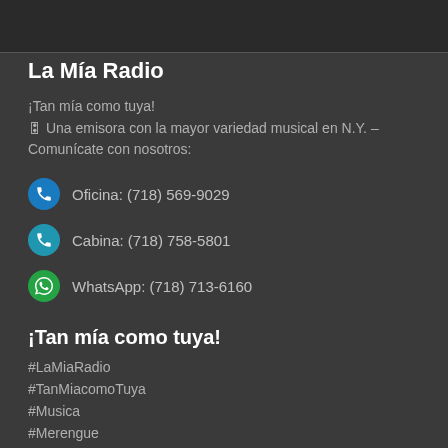La Mía Radio
¡Tan mía como tuya!
🎛 Una emisora con la mayor variedad musical en N.Y. – Comunícate con nosotros:
Oficina: (718) 569-9029
Cabina: (718) 758-5801
WhatsApp: (718) 713-6160
¡Tan mía como tuya!
#LaMiaRadio
#TanMiacomoTuya
#Musica
#Merengue
#Bachata